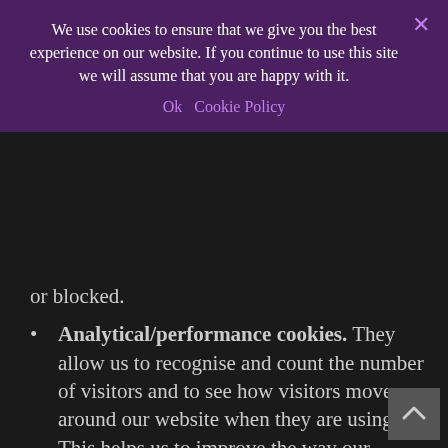We use cookies to ensure that we give you the best experience on our website. If you continue to use this site we will assume that you are happy with it.
Ok   Cookie Policy
or blocked.
Analytical/performance cookies. They allow us to recognise and count the number of visitors and to see how visitors move around our website when they are using it. This helps us to improve the way our website works, for example, by ensuring that users are finding what they are looking for easily. These cookies don't collect information that identifies you. All the information that these cookies collect is anonymous and is only used to improve how a website works. These can be restricted or blocked.